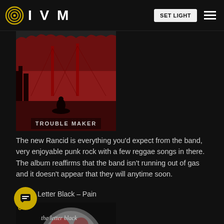IVM — SET LIGHT navigation header
[Figure (photo): Album art for Rancid – Trouble Maker: red-toned illustration of Golden Gate Bridge with a figure in the foreground, text 'TROUBLE MAKER' at bottom]
The new Rancid is everything you'd expect from the band, very enjoyable punk rock with a few reggae songs in there. The album reaffirms that the band isn't running out of gas and it doesn't appear that they will anytime soon.
8. The Letter Black – Pain
[Figure (photo): Album art for The Letter Black – Pain: shows skull/head with red accents and band name 'the letter black' in gothic lettering, with rating badge '6']